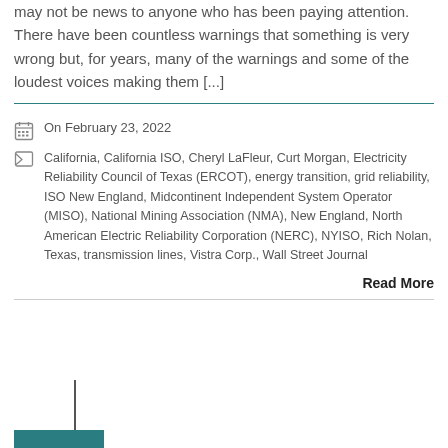may not be news to anyone who has been paying attention. There have been countless warnings that something is very wrong but, for years, many of the warnings and some of the loudest voices making them [...]
On February 23, 2022
California, California ISO, Cheryl LaFleur, Curt Morgan, Electricity Reliability Council of Texas (ERCOT), energy transition, grid reliability, ISO New England, Midcontinent Independent System Operator (MISO), National Mining Association (NMA), New England, North American Electric Reliability Corporation (NERC), NYISO, Rich Nolan, Texas, transmission lines, Vistra Corp., Wall Street Journal
Read More